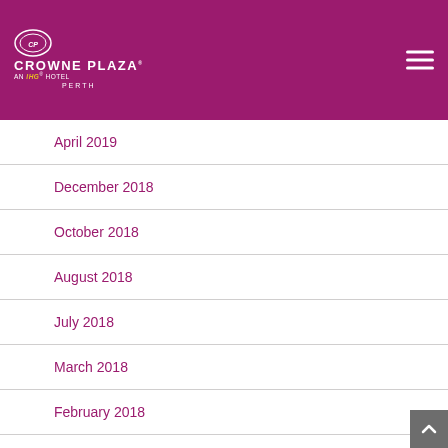Crowne Plaza Perth — AN IHG HOTEL
April 2019
December 2018
October 2018
August 2018
July 2018
March 2018
February 2018
September 2017
August 2017
July 2017
June 2017
May 2017